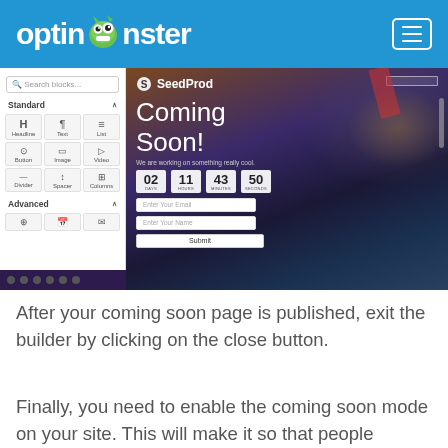optinmonster
[Figure (screenshot): Screenshot of SeedProd coming soon page builder interface showing a left sidebar with block elements (Headline, Text, List, Button, Image, Video, Divider, Spacer, Columns, and Advanced section) and the main preview showing a Coming Soon page with countdown timer (02 days, 11 hours, 43 minutes, 50 seconds), email and name input fields, and a Submit button, against a dark stormy sky background.]
After your coming soon page is published, exit the builder by clicking on the close button.
Finally, you need to enable the coming soon mode on your site. This will make it so that people visiting your